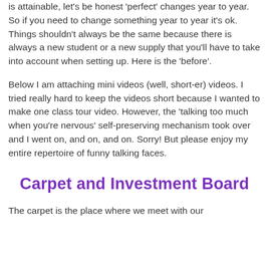is attainable, let's be honest  'perfect' changes year to year.  So if you need to change something year to year it's ok.  Things shouldn't always be the same because there is always a new student or a new supply that you'll have to take into account when setting up.  Here is the 'before'.
Below I am attaching mini videos (well, short-er) videos.  I tried really hard to keep the videos short because I wanted to make one class tour video.  However, the 'talking too much when you're nervous' self-preserving mechanism took over and I went on, and on, and on.  Sorry!  But please enjoy my entire repertoire of funny talking faces.
Carpet and Investment Board
The carpet is the place where we meet with our